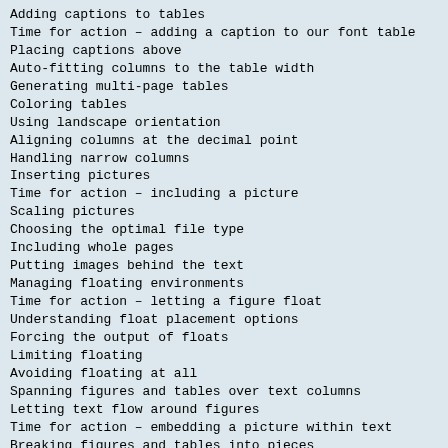Adding captions to tables
Time for action – adding a caption to our font table
Placing captions above
Auto-fitting columns to the table width
Generating multi-page tables
Coloring tables
Using landscape orientation
Aligning columns at the decimal point
Handling narrow columns
Inserting pictures
Time for action – including a picture
Scaling pictures
Choosing the optimal file type
Including whole pages
Putting images behind the text
Managing floating environments
Time for action – letting a figure float
Understanding float placement options
Forcing the output of floats
Limiting floating
Avoiding floating at all
Spanning figures and tables over text columns
Letting text flow around figures
Time for action – embedding a picture within text
Breaking figures and tables into pieces
Summary
Chapter 6: Cross-Referencing
Setting labels and referencing
Time for action – referencing items of a top list
Assigning a key
Referring to a key
Referring to a page